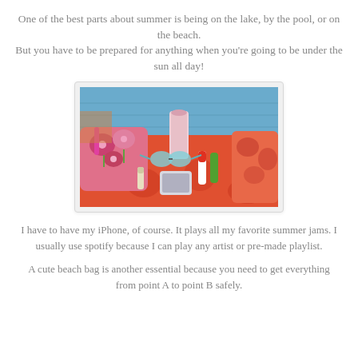One of the best parts about summer is being on the lake, by the pool, or on the beach. But you have to be prepared for anything when you're going to be under the sun all day!
[Figure (photo): Photo of beach/pool essentials laid out on an orange patterned towel: a floral pink bag, sunscreen tubes, sunglasses, a phone case, a drink cup, and a lip balm, with a blue pool in the background.]
I have to have my iPhone, of course. It plays all my favorite summer jams. I usually use spotify because I can play any artist or pre-made playlist.
A cute beach bag is another essential because you need to get everything from point A to point B safely.